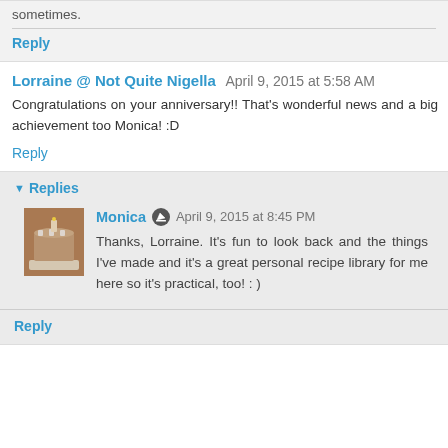sometimes.
Reply
Lorraine @ Not Quite Nigella  April 9, 2015 at 5:58 AM
Congratulations on your anniversary!! That's wonderful news and a big achievement too Monica! :D
Reply
Replies
Monica  April 9, 2015 at 8:45 PM
Thanks, Lorraine. It's fun to look back and the things I've made and it's a great personal recipe library for me here so it's practical, too! : )
Reply